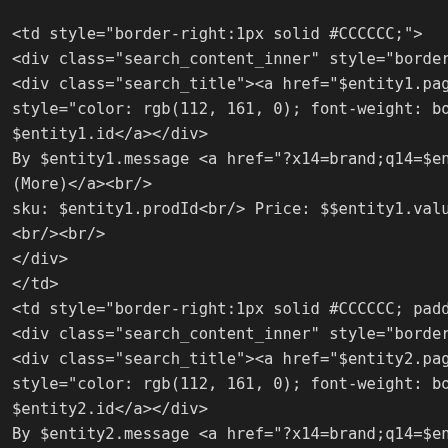<td style="border-right:1px solid #CCCCCC;">
<div class="search_content_inner" style="border-
<div class="search_title"><a href="$entity1.page
style="color: rgb(112, 161, 0); font-weight: bol
$entity1.id</a></div>
By $entity1.message <a href="?x14=brand;q14=$ent
(More)</a><br/>
sku: $entity1.prodId<br/> Price: $$entity1.value
<br/><br/>
</div>
</td>
<td style="border-right:1px solid #CCCCCC; paddi
<div class="search_content_inner" style="border-
<div class="search_title"><a href="$entity2.page
style="color: rgb(112, 161, 0); font-weight: bol
$entity2.id</a></div>
By $entity2.message <a href="?x14=brand;q14=$ent
(More)</a><br/>
sku: $entity2.prodId<br/>
Price: $$entity2.value
<br/><br/>
</div>